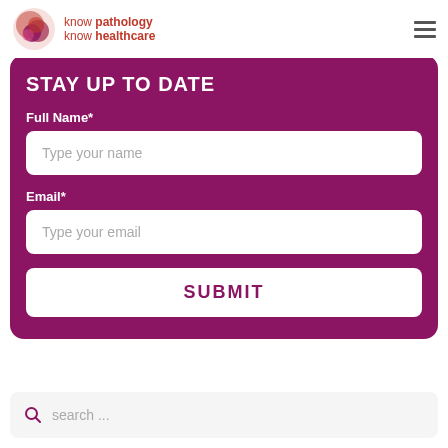know pathology know healthcare
STAY UP TO DATE
Full Name*
Type your name
Email*
Type your email
SUBMIT
search ...